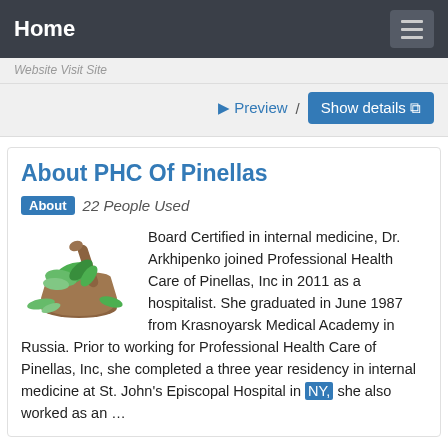Home
Website Visit Site
Preview / Show details
About PHC Of Pinellas
About  22 People Used
Board Certified in internal medicine, Dr. Arkhipenko joined Professional Health Care of Pinellas, Inc in 2011 as a hospitalist. She graduated in June 1987 from Krasnoyarsk Medical Academy in Russia. Prior to working for Professional Health Care of Pinellas, Inc, she completed a three year residency in internal medicine at St. John's Episcopal Hospital in NY, she also worked as an …